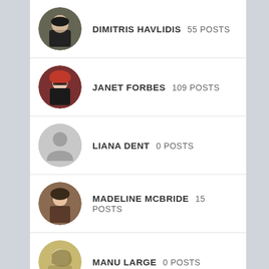DIMITRIS HAVLIDIS 55 Posts
JANET FORBES 109 Posts
LIANA DENT 0 Posts
MADELINE MCBRIDE 15 Posts
MANU LARGE 0 Posts
[Figure (screenshot): Partial avatar of a sixth user visible at bottom of page]